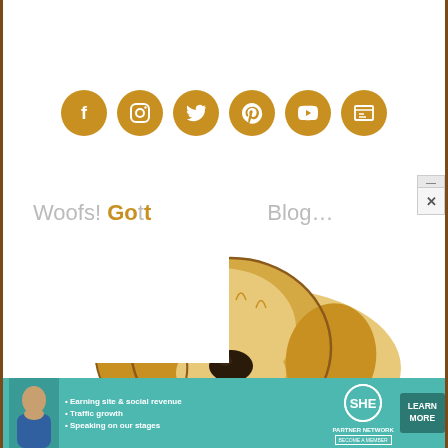[Figure (infographic): Row of six golden/amber colored circular social media icons: Facebook, Instagram, Twitter, Pinterest, YouTube, and a newsletter/news icon]
Woofs! Go to... Blog...
[Figure (illustration): Illustrated golden retriever dog peeking from bottom, cartoon style, warm golden/brown colors]
[Figure (infographic): SHE Partner Network advertisement banner in teal/turquoise: Earning site & social revenue, Traffic growth, Speaking on our stages. LEARN MORE button. Become a member.]